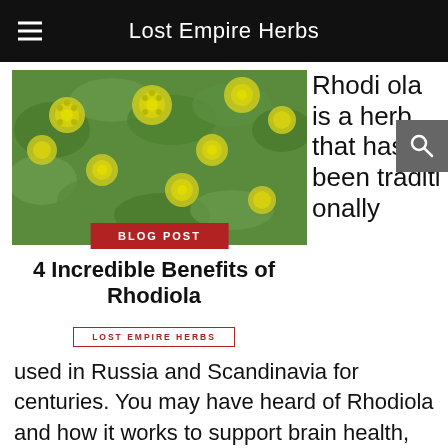Lost Empire Herbs
[Figure (photo): Close-up photo of Rhodiola plant with yellow-green flowers and succulent leaves]
BLOG POST
4 Incredible Benefits of Rhodiola
LOST EMPIRE HERBS
Rhodiola is a herb that has been traditionally used in Russia and Scandinavia for centuries. You may have heard of Rhodiola and how it works to support brain health, but did you know that it